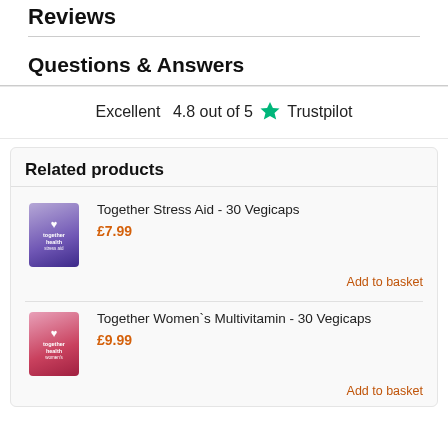Reviews
Questions & Answers
Excellent   4.8 out of 5   ★ Trustpilot
Related products
Together Stress Aid - 30 Vegicaps
£7.99
Add to basket
Together Women`s Multivitamin - 30 Vegicaps
£9.99
Add to basket